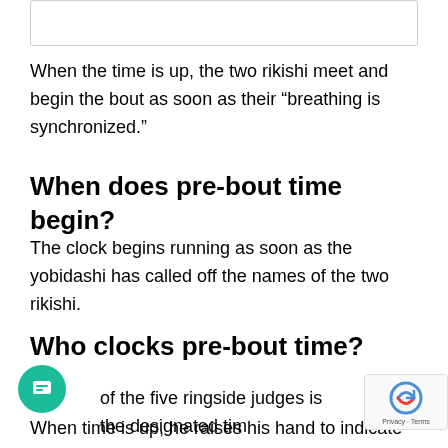[Figure (other): A bordered white box at the top of the page]
When the time is up, the two rikishi meet and begin the bout as soon as their “breathing is synchronized.”
When does pre-bout time begin?
The clock begins running as soon as the yobidashi has called off the names of the two rikishi.
Who clocks pre-bout time?
of the five ringside judges is the designated tim
When time is up, he raises his hand to indicate that the